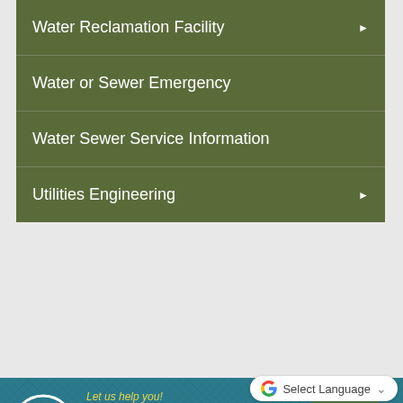Water Reclamation Facility ▶
Water or Sewer Emergency
Water Sewer Service Information
Utilities Engineering ▶
[Figure (infographic): Apex town government Resident Services banner with logo circle, 'Let us help you!' tagline, RESIDENT SERVICES text in white, chat bubble with Apex logo and CHAT NOW button, and Google Select Language dropdown]
Let us help you!
RESIDENT SERVICES
CHAT NOW
Select Language